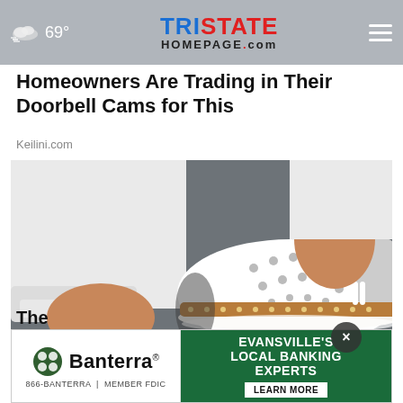69° TRISTATE HOMEPAGE.com
Homeowners Are Trading in Their Doorbell Cams for This
Keilini.com
[Figure (photo): Close-up photo of white slip-on shoes with perforated upper and tan/brown leather trim with decorative gold studs, worn by a person in white jeans, shot from above on a gray pavement background.]
[Figure (logo): Banterra Bank advertisement banner: left side shows Banterra logo with circular geometric icon, right green side reads EVANSVILLE'S LOCAL BANKING EXPERTS with LEARN MORE button.]
The